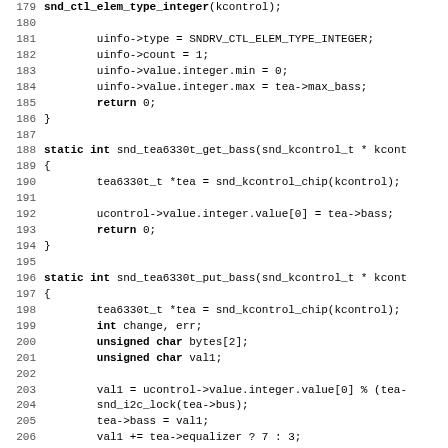Source code listing, lines 179-211, C programming language, showing snd_tea6330t_get_bass and snd_tea6330t_put_bass functions
179: (partial line truncated)
180: (blank)
181:         uinfo->type = SNDRV_CTL_ELEM_TYPE_INTEGER;
182:         uinfo->count = 1;
183:         uinfo->value.integer.min = 0;
184:         uinfo->value.integer.max = tea->max_bass;
185:         return 0;
186: }
187: (blank)
188: static int snd_tea6330t_get_bass(snd_kcontrol_t * kcont
189: {
190:         tea6330t_t *tea = snd_kcontrol_chip(kcontrol);
191: (blank)
192:         ucontrol->value.integer.value[0] = tea->bass;
193:         return 0;
194: }
195: (blank)
196: static int snd_tea6330t_put_bass(snd_kcontrol_t * kcont
197: {
198:         tea6330t_t *tea = snd_kcontrol_chip(kcontrol);
199:         int change, err;
200:         unsigned char bytes[2];
201:         unsigned char val1;
202: (blank)
203:         val1 = ucontrol->value.integer.value[0] % (tea-
204:         snd_i2c_lock(tea->bus);
205:         tea->bass = val1;
206:         val1 += tea->equalizer ? 7 : 3;
207:         change = tea->regs[TEA6330T_SADDR_BASS] != val1
208:         bytes[0] = TEA6330T_SADDR_BASS;
209:         bytes[1] = tea->regs[TEA6330T_SADDR_BASS] = val
210:         if ((err = snd_i2c_sendbytes(tea->device, bytes
211:                 change = err;